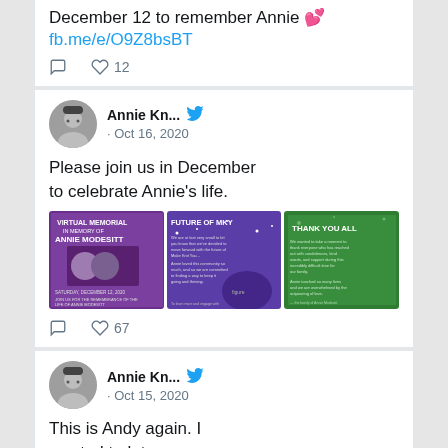December 12 to remember Annie 💕 fb.me/e/O9Z8bsBT
♡  ♡  12
Annie Kn... · Oct 16, 2020
Please join us in December to celebrate Annie's life.
[Figure (screenshot): Three thumbnail images: a purple virtual memorial for Annie Modesitt, a purple 'Future of MKY' post, and a green 'Thank You All' post]
♡  ♡  67
Annie Kn... · Oct 15, 2020
This is Andy again. I wanted to let you guys know that we decided to